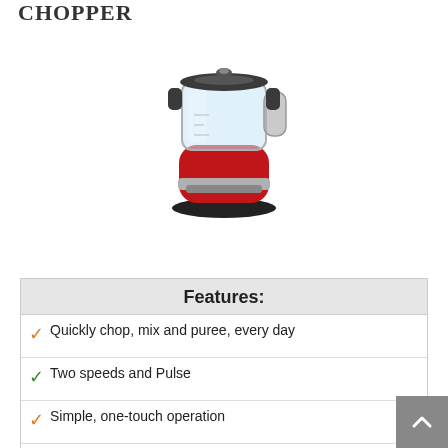CHOPPER
[Figure (photo): Red KitchenAid mini food chopper/processor with clear bowl and stainless steel top]
Check Amazon Price
| Features: |
| --- |
| ✓ Quickly chop, mix and puree, every day |
| ✓ Two speeds and Pulse |
| ✓ Simple, one-touch operation |
| ✓ 3.5 cup BPA-free work bowl with pour spout, handle and locking lid |
| ✓ Drizzle basin |
| ✓ Compact and lightweight |